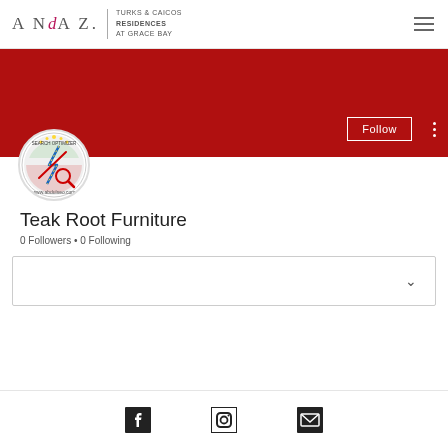[Figure (logo): Andaz Turks & Caicos Residences at Grace Bay logo with hamburger menu icon]
[Figure (photo): Red banner background with Follow button and three-dot menu]
[Figure (logo): Circular SEO optimizer logo with lightning bolt, www.abdulseo.com]
Teak Root Furniture
0 Followers • 0 Following
[Figure (other): Dropdown card with chevron icon]
[Figure (other): Social media icons: Facebook, Instagram, Email]